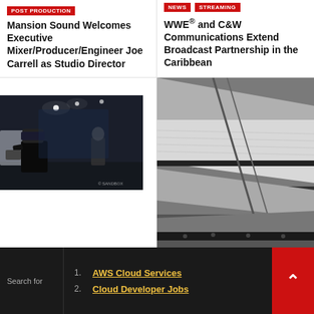POST PRODUCTION
Mansion Sound Welcomes Executive Mixer/Producer/Engineer Joe Carrell as Studio Director
NEWS STREAMING
WWE® and C&W Communications Extend Broadcast Partnership in the Caribbean
[Figure (photo): Person wearing VR headset in a dark studio space with another person in background, SANDBOX watermark visible]
[Figure (photo): Black and white industrial photo of printing press or paper machinery]
1. AWS Cloud Services
2. Cloud Developer Jobs
Search for